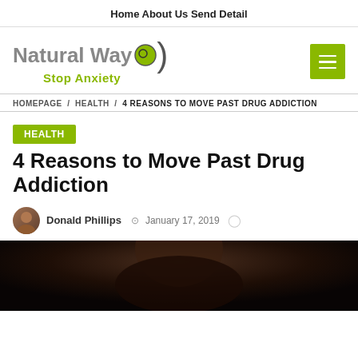Home   About Us   Send Detail
[Figure (logo): Natural Way Stop Anxiety logo with green circle and parenthesis mark]
HOMEPAGE / HEALTH / 4 REASONS TO MOVE PAST DRUG ADDICTION
HEALTH
4 Reasons to Move Past Drug Addiction
Donald Phillips  January 17, 2019
[Figure (photo): Dark photo showing a person's face partially visible]